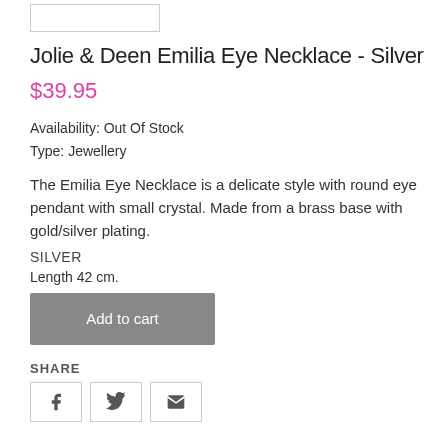Jolie & Deen Emilia Eye Necklace - Silver
$39.95
Availability: Out Of Stock
Type: Jewellery
The Emilia Eye Necklace is a delicate style with round eye pendant with small crystal. Made from a brass base with gold/silver plating.
SILVER
Length 42 cm.
Add to cart
SHARE